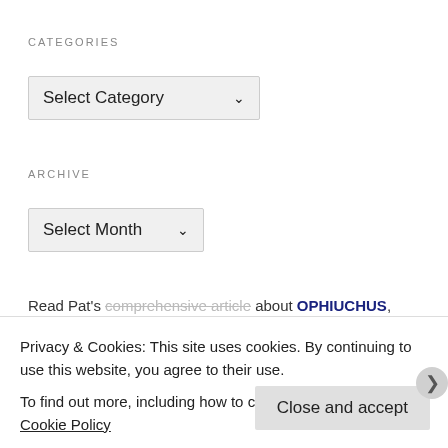CATEGORIES
Select Category ▾
ARCHIVE
Select Month ▾
Read Pat's comprehensive article about OPHIUCHUS, originally
Privacy & Cookies: This site uses cookies. By continuing to use this website, you agree to their use.
To find out more, including how to control cookies, see here: Cookie Policy
Close and accept